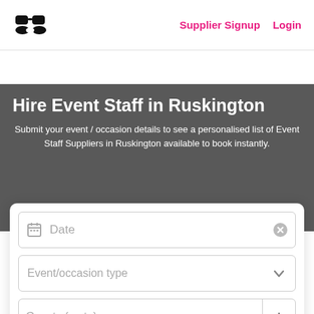Supplier Signup  Login
Hire Event Staff in Ruskington
Submit your event / occasion details to see a personalised list of Event Staff Suppliers in Ruskington available to book instantly.
[Figure (screenshot): Form with Date input field, Event/occasion type dropdown, and Guests (up to) number input with a plus button]